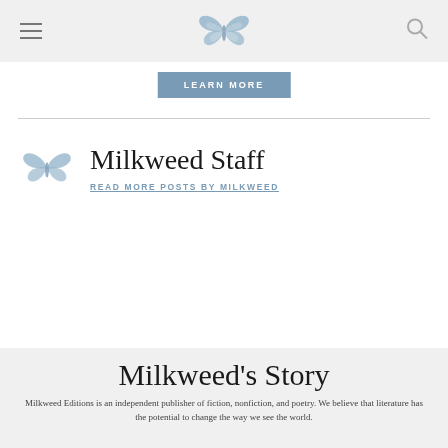Milkweed Editions website header with butterfly logo, hamburger menu, and search icon
LEARN MORE
Milkweed Staff
READ MORE POSTS BY MILKWEED
Milkweed's Story
Milkweed Editions is an independent publisher of fiction, nonfiction, and poetry. We believe that literature has the potential to change the way we see the world.